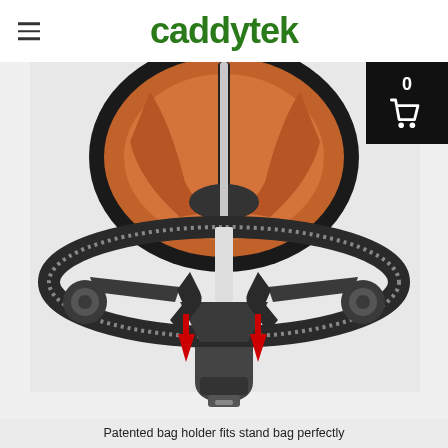caddytek
[Figure (photo): Top-down view of a Caddytek golf bag holder mechanism showing the bag support ring with red arrows indicating downward movement of the locking arms, with orange padded interior and a golf club shaft visible from above.]
Patented bag holder fits stand bag perfectly